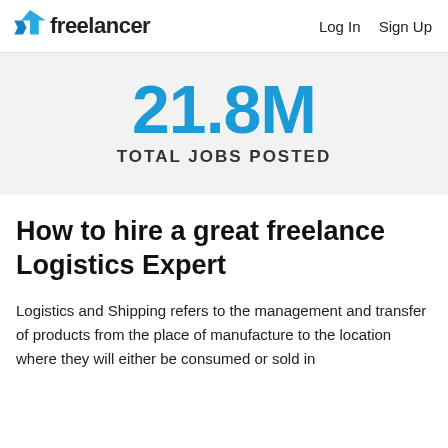freelancer  Log In  Sign Up
21.8M
TOTAL JOBS POSTED
How to hire a great freelance Logistics Expert
Logistics and Shipping refers to the management and transfer of products from the place of manufacture to the location where they will either be consumed or sold in